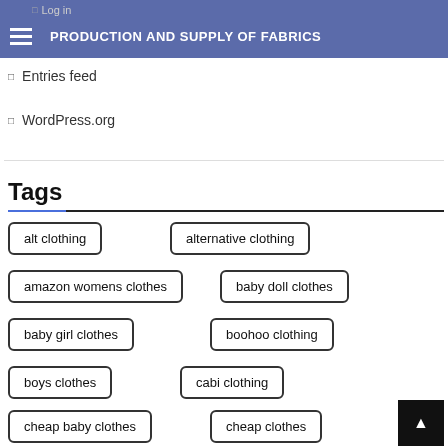PRODUCTION AND SUPPLY OF FABRICS
Log in
Entries feed
WordPress.org
Tags
alt clothing
alternative clothing
amazon womens clothes
baby doll clothes
baby girl clothes
boohoo clothing
boys clothes
cabi clothing
cheap baby clothes
cheap clothes